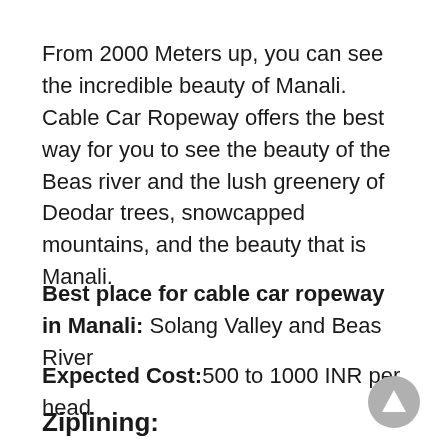From 2000 Meters up, you can see the incredible beauty of Manali. Cable Car Ropeway offers the best way for you to see the beauty of the Beas river and the lush greenery of Deodar trees, snowcapped mountains, and the beauty that is Manali.
Best place for cable car ropeway in Manali: Solang Valley and Beas River
Expected Cost:500 to 1000 INR per head
Ziplining: